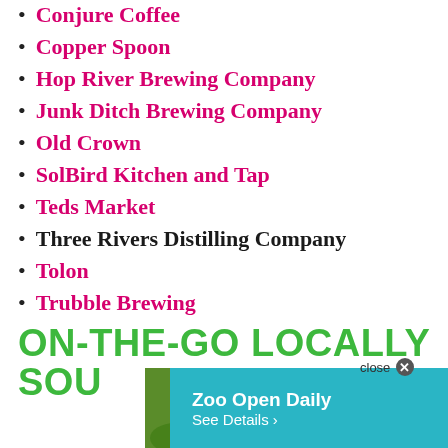Conjure Coffee
Copper Spoon
Hop River Brewing Company
Junk Ditch Brewing Company
Old Crown
SolBird Kitchen and Tap
Teds Market
Three Rivers Distilling Company
Tolon
Trubble Brewing
ON-THE-GO LOCALLY SOU...
[Figure (other): Zoo advertisement banner with tiger image and text: Zoo Open Daily, See Details]